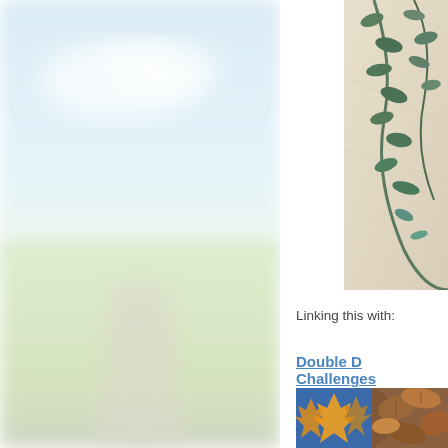[Figure (photo): Blurry outdoor road scene with pale blue sky and green fields on left side of page]
[Figure (photo): Close-up of eucalyptus leaves and branches arranged on a beige stone or marble surface]
Linking this with:
Double D Challenges
[Figure (photo): Two autumn leaf images: yellow-orange oak leaves on blue background on left, and dried brown crinkled leaves on right]